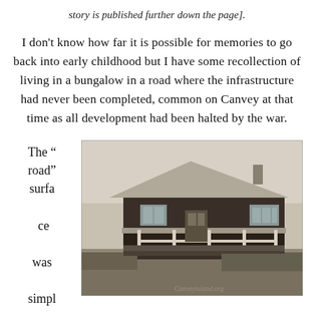story is published further down the page].
I don't know how far it is possible for memories to go back into early childhood but I have some recollection of living in a bungalow in a road where the infrastructure had never been completed, common on Canvey at that time as all development had been halted by the war.
The “road” surface was simpl
[Figure (photo): Black and white photograph of a wooden bungalow with a covered front porch, white picket fence railing, and a corrugated or flat roof. A watermark reading 'Canveyisland.org' is visible in the lower right corner.]